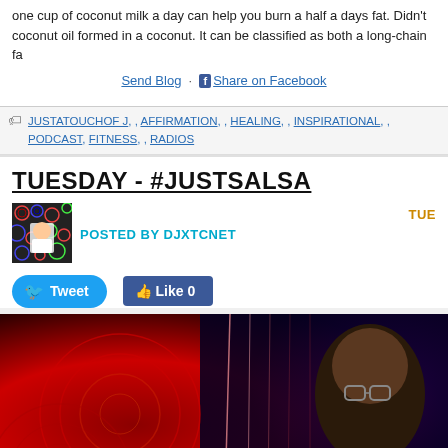one cup of coconut milk a day can help you burn a half a days fat. Didn't coconut oil formed in a coconut. It can be classified as both a long-chain fa
Send Blog · Share on Facebook
JUSTATOUCHOF J, , AFFIRMATION, , HEALING, , INSPIRATIONAL, , PODCAST, FITNESS, , RADIOS
TUESDAY - #JUSTSALSA
POSTED BY DJXTCNET
TUE
[Figure (photo): Avatar photo of DJXTCNET - person wearing white shirt with colorful pattern background]
Tweet  Like 0
[Figure (photo): DJ or radio host photo - bald Black man wearing glasses against red and purple abstract background with glowing circles]